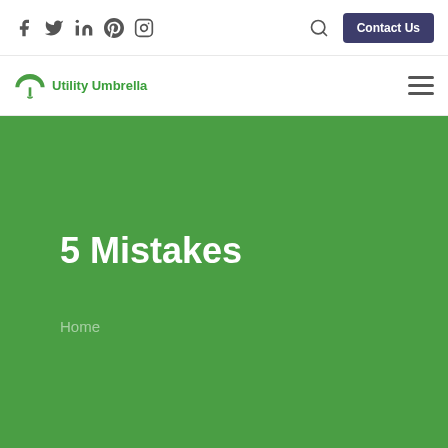Social icons: Facebook, Twitter, LinkedIn, Pinterest, Instagram | Search | Contact Us
[Figure (logo): Utility Umbrella logo with green umbrella icon and green text]
5 Mistakes
Home